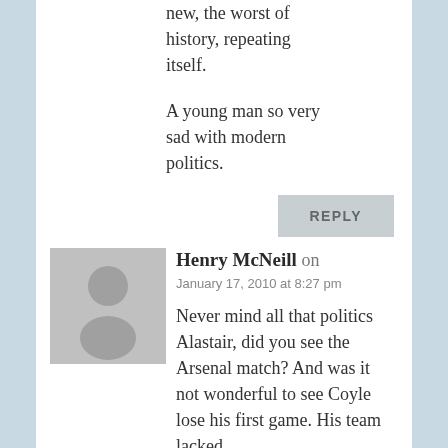new, the worst of history, repeating itself.
A young man so very sad with modern politics.
REPLY
Henry McNeill on
January 17, 2010 at 8:27 pm
Never mind all that politics Alastair, did you see the Arsenal match? And was it not wonderful to see Coyle lose his first game. His team lacked the skill on the field of